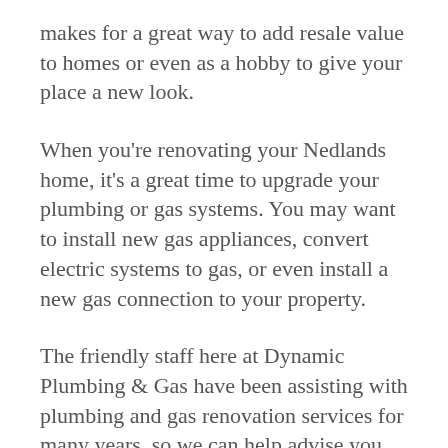makes for a great way to add resale value to homes or even as a hobby to give your place a new look.
When you're renovating your Nedlands home, it's a great time to upgrade your plumbing or gas systems. You may want to install new gas appliances, convert electric systems to gas, or even install a new gas connection to your property.
The friendly staff here at Dynamic Plumbing & Gas have been assisting with plumbing and gas renovation services for many years, so we can help advise you on the best solutions and appliances for your needs. Our customers across Nedlands trust our licenced staff and their